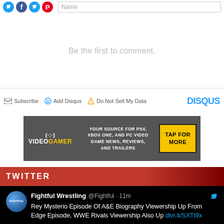[Figure (screenshot): Social media share icons (Twitter blue, Facebook blue, Twitter blue, Pinterest red) with a Name input field]
Be the first to comment.
[Figure (screenshot): Disqus comment section footer bar with Subscribe, Add Disqus, Do Not Sell My Data links and DISQUS logo]
[Figure (screenshot): VideoGamer advertisement banner: YOUR SOURCE FOR PS4, XBOX ONE, AND PC VIDEO GAME NEWS, REVIEWS, AND TRAILERS - TAP FOR MORE]
TWITTER
Fightful Wrestling @Fightful · 11m
Rey Mysterio Episode Of A&E Biography Viewership Up From Edge Episode, WWE Rivals Viewership Also Up dlvr.it/SXTt9x